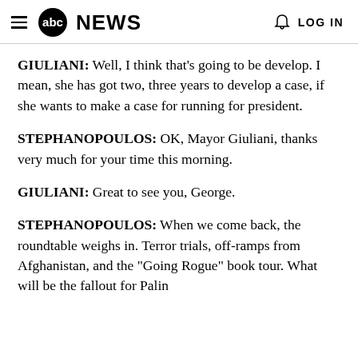abc NEWS  LOG IN
GIULIANI: Well, I think that's going to be develop. I mean, she has got two, three years to develop a case, if she wants to make a case for running for president.
STEPHANOPOULOS: OK, Mayor Giuliani, thanks very much for your time this morning.
GIULIANI: Great to see you, George.
STEPHANOPOULOS: When we come back, the roundtable weighs in. Terror trials, off-ramps from Afghanistan, and the "Going Rogue" book tour. What will be the fallout for Palin